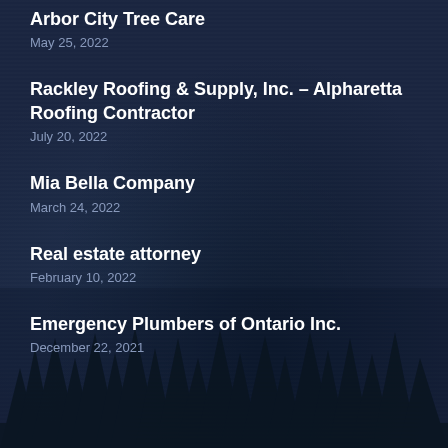Arbor City Tree Care
May 25, 2022
Rackley Roofing & Supply, Inc. – Alpharetta Roofing Contractor
July 20, 2022
Mia Bella Company
March 24, 2022
Real estate attorney
February 10, 2022
Emergency Plumbers of Ontario Inc.
December 22, 2021